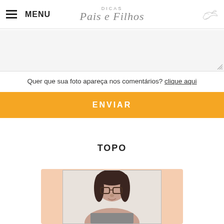MENU | DICAS Pais e Filhos
[Figure (screenshot): Empty textarea input field with resize handle in bottom right corner]
Quer que sua foto apareça nos comentários? clique aqui
ENVIAR
TOPO
[Figure (photo): Woman with dark hair and glasses, partial portrait photo with peach/salmon background]